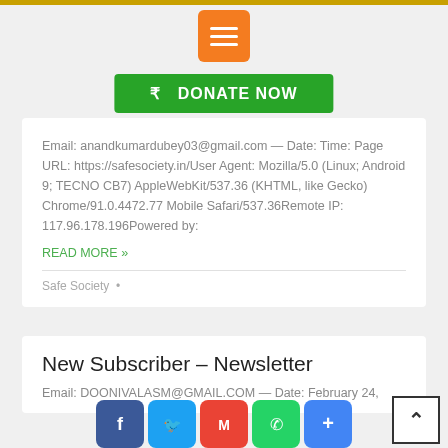[Figure (other): Orange hamburger menu button icon]
[Figure (other): Green Donate Now button with rupee symbol]
Email: anandkumardubey03@gmail.com — Date: Time: Page URL: https://safesociety.in/User Agent: Mozilla/5.0 (Linux; Android 9; TECNO CB7) AppleWebKit/537.36 (KHTML, like Gecko) Chrome/91.0.4472.77 Mobile Safari/537.36Remote IP: 117.96.178.196Powered by:
READ MORE »
Safe Society •
New Subscriber – Newsletter
Email: DOONIVALASM@GMAIL.COM — Date: February 24,
[Figure (other): Social sharing buttons: Facebook, Twitter, Gmail, WhatsApp, Share]